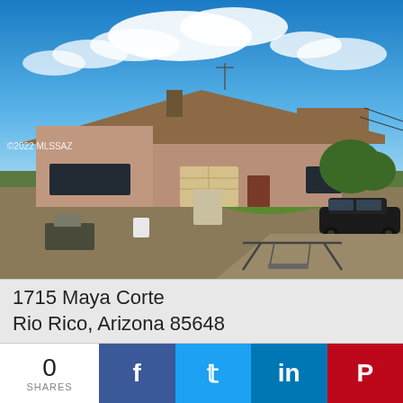[Figure (photo): Exterior photo of a single-story ranch-style brick home with brown roof, attached garage, swing set in front yard, black car parked in dirt driveway, blue sky with clouds. Watermark reads ©2022 MLSSAZ.]
1715 Maya Corte
Rio Rico, Arizona 85648
0
SHARES
f
𝕥
in
P